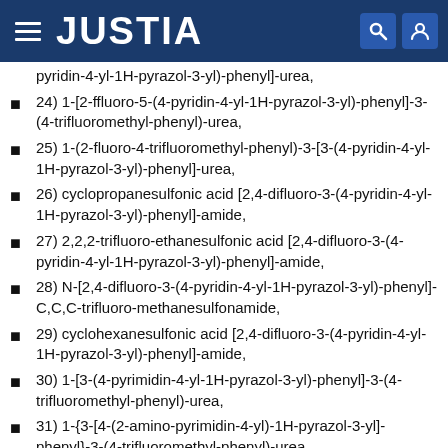JUSTIA
pyridin-4-yl-1H-pyrazol-3-yl)-phenyl]-urea,
24) 1-[2-ffluoro-5-(4-pyridin-4-yl-1H-pyrazol-3-yl)-phenyl]-3-(4-trifluoromethyl-phenyl)-urea,
25) 1-(2-fluoro-4-trifluoromethyl-phenyl)-3-[3-(4-pyridin-4-yl-1H-pyrazol-3-yl)-phenyl]-urea,
26) cyclopropanesulfonic acid [2,4-difluoro-3-(4-pyridin-4-yl-1H-pyrazol-3-yl)-phenyl]-amide,
27) 2,2,2-trifluoro-ethanesulfonic acid [2,4-difluoro-3-(4-pyridin-4-yl-1H-pyrazol-3-yl)-phenyl]-amide,
28) N-[2,4-difluoro-3-(4-pyridin-4-yl-1H-pyrazol-3-yl)-phenyl]-C,C,C-trifluoro-methanesulfonamide,
29) cyclohexanesulfonic acid [2,4-difluoro-3-(4-pyridin-4-yl-1H-pyrazol-3-yl)-phenyl]-amide,
30) 1-[3-(4-pyrimidin-4-yl-1H-pyrazol-3-yl)-phenyl]-3-(4-trifluoromethyl-phenyl)-urea,
31) 1-{3-[4-(2-amino-pyrimidin-4-yl)-1H-pyrazol-3-yl]-phenyl}-3-(4-trifluoromethyl-phenyl)-urea